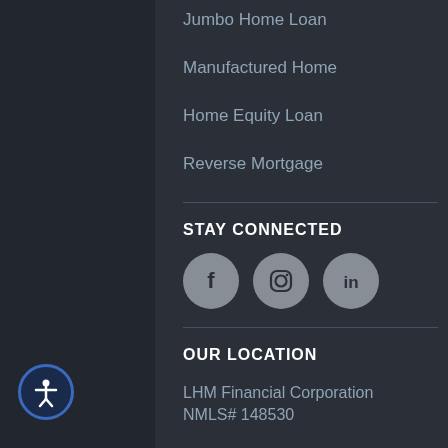Jumbo Home Loan
Manufactured Home
Home Equity Loan
Reverse Mortgage
STAY CONNECTED
[Figure (other): Social media icons: Facebook, Instagram, LinkedIn]
OUR LOCATION
LHM Financial Corporation
NMLS# 148530